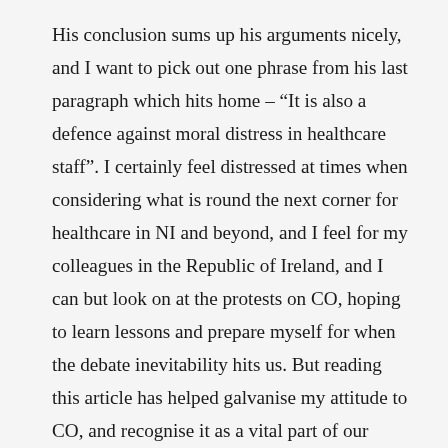His conclusion sums up his arguments nicely, and I want to pick out one phrase from his last paragraph which hits home – “It is also a defence against moral distress in healthcare staff”. I certainly feel distressed at times when considering what is round the next corner for healthcare in NI and beyond, and I feel for my colleagues in the Republic of Ireland, and I can but look on at the protests on CO, hoping to learn lessons and prepare myself for when the debate inevitability hits us. But reading this article has helped galvanise my attitude to CO, and recognise it as a vital part of our profession. I hope that in writing this some will be encouraged also, and I look forward to reading more of Trevor Stammers’ work on the subject, glad that we have so able an apologist in our ranks.